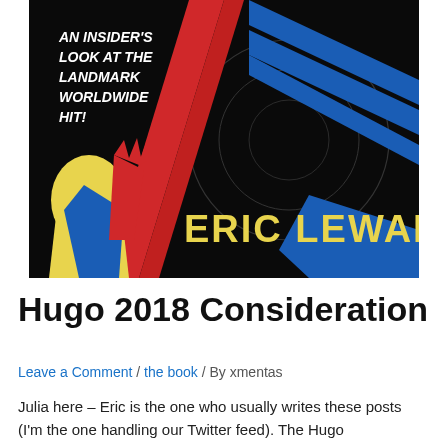[Figure (illustration): Book cover for 'An Insider's Look at the Landmark Worldwide Hit!' by Eric Lewald. Dark black background with bold graphic design: red diagonal stripes, blue diagonal bars, yellow and blue stylized figure at lower left. Title text in white italic lettering at top left, author name 'ERIC LEWALD' in large bold yellow capitals at lower right.]
Hugo 2018 Consideration
Leave a Comment / the book / By xmentas
Julia here – Eric is the one who usually writes these posts (I'm the one handling our Twitter feed). The Hugo